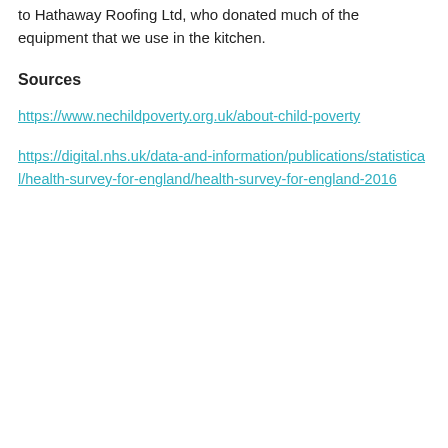to Hathaway Roofing Ltd, who donated much of the equipment that we use in the kitchen.
Sources
https://www.nechildpoverty.org.uk/about-child-poverty
https://digital.nhs.uk/data-and-information/publications/statistical/health-survey-for-england/health-survey-for-england-2016